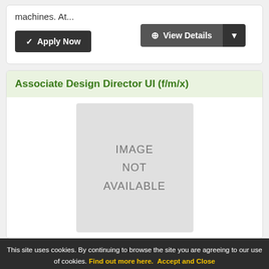machines. At...
✔ Apply Now
⊕ View Details ▼
Associate Design Director UI (f/m/x)
[Figure (other): Image placeholder with text IMAGE NOT AVAILABLE]
This site uses cookies. By continuing to browse the site you are agreeing to our use of cookies. Find out more here. Accept and Close